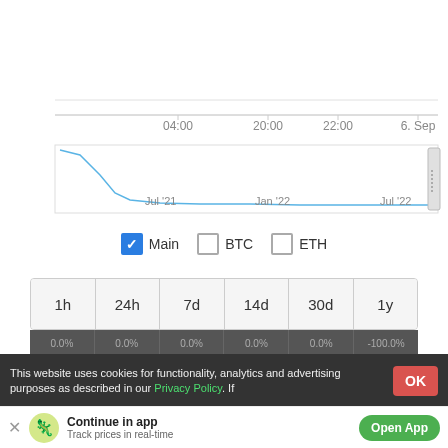CoinGecko
[Figure (line-chart): Price line chart showing cryptocurrency data with time axis labels 04:00, 20:00, 22:00, 6. Sep and range navigator with Jul '21, Jan '22, Jul '22]
Main   BTC   ETH
| 1h | 24h | 7d | 14d | 30d | 1y |
| --- | --- | --- | --- | --- | --- |
| 0.0% | 0.0% | 0.0% | 0.0% | 0.0% | -100.0% |
This website uses cookies for functionality, analytics and advertising purposes as described in our Privacy Policy. If
Continue in app
Track prices in real-time